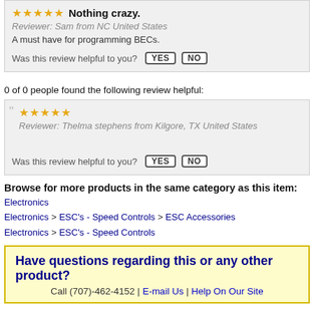Nothing crazy. Reviewer: Sam from NC United States. A must have for programming BECs. Was this review helpful to you? YES NO
0 of 0 people found the following review helpful:
Reviewer: Thelma stephens from Kilgore, TX United States. Was this review helpful to you? YES NO
Browse for more products in the same category as this item:
Electronics
Electronics > ESC's - Speed Controls > ESC Accessories
Electronics > ESC's - Speed Controls
Have questions regarding this or any other product? Call (707)-462-4152 | E-mail Us | Help On Our Site
ds Say... "Super-fast shipping and excellent custo